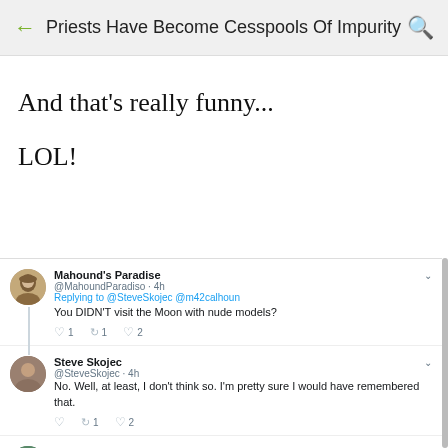Priests Have Become Cesspools Of Impurity
And that's really funny...
LOL!
[Figure (screenshot): Screenshot of a Twitter/X thread. Mahound's Paradise @MahoundParadiso · 4h replying to @SteveSkojec @m42calhoun: 'You DIDN'T visit the Moon with nude models?' with 1 comment, 1 retweet, 2 likes. Steve Skojec @SteveSkojec · 4h: 'No. Well, at least, I don't think so. I'm pretty sure I would have remembered that.' with 0 comments, 1 retweet, 2 likes. Bartolo_3901293 @B3901293 · 4h replying to @SteveSkojec: 'Guess rich, American ultraconservatives have to spend their money on']